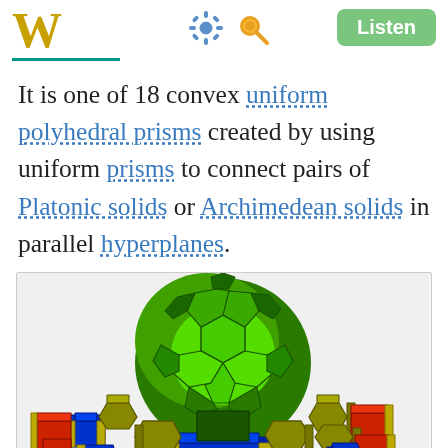W [Wikipedia logo header with settings and search icons and Listen button]
It is one of 18 convex uniform polyhedral prisms created by using uniform prisms to connect pairs of Platonic solids or Archimedean solids in parallel hyperplanes.
[Figure (illustration): 3D illustration of a large green truncated icosahedron-like polyhedron (soccer ball shape) on top, surrounded by smaller colored polyhedra including blue cylinders/prisms, red squares/cubes, and yellow/olive octagonal prisms arranged around the base.]